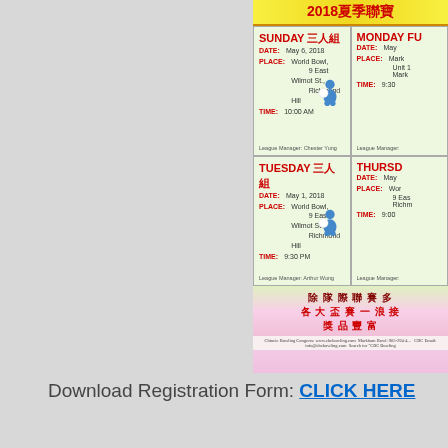[Figure (infographic): 2018 Chinese Bowling Congress summer league flyer (partially visible, cropped on right). Shows schedule for SUNDAY 三人組 (May 6, 2018, World Bowl, 9 East Wilmot St., Richmond Hill, 10:00 AM, League Manager: Chester Yung), MONDAY FU... (partially cut), TUESDAY 三人組 (May 1, 2018, World Bowl, 9 East Wilmot St., Richmond Hill, 9:30 PM, League Manager: Arthur Wong), THURSDAY... (partially cut). Bottom section has Chinese text: 除隊際聯賽多, 各大盃賽一浪接, 獎品豐富. Footer: Chincie Bowling Congress: www.cbcbowling.com, Markham Bowl: 905-294-4..., CBC Email: info@cbcbowling.com, Search for 'CBC Bowling'.]
Download Registration Form: CLICK HERE